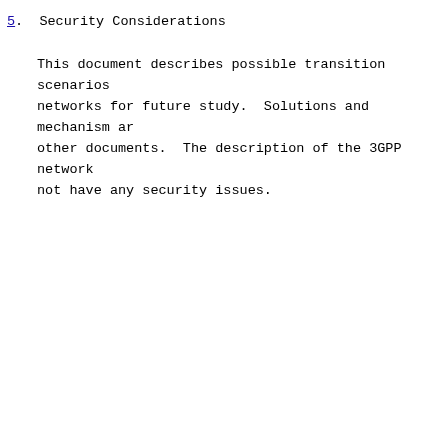5.  Security Considerations
This document describes possible transition scenarios networks for future study.  Solutions and mechanism are other documents.  The description of the 3GPP network not have any security issues.